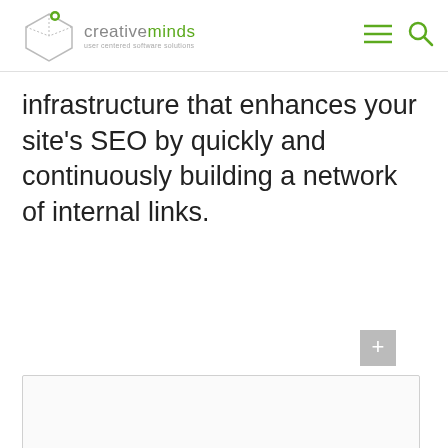creativeminds – user centered software solutions
infrastructure that enhances your site's SEO by quickly and continuously building a network of internal links.
[Figure (other): Gray plus/add button icon]
[Figure (other): Empty content box / placeholder area]
Related Terms and Articles on a Term